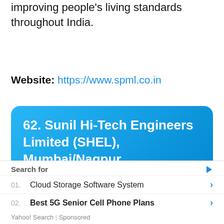strengthening the local economy and improving people's living standards throughout India.
Website: https://www.spml.co.in
62. Sunil Hi-Tech Engineers Limited (SHEL), Mumbai/Nagpur
Sunil Hi-Tech Engineers Limited (SHEL) is a company that specializes in Engineering, Procurement, and Construction (E.P.C.) in India. SHEL is the transition of a minor, proprietary company into a global growth
Search for
01. Cloud Storage Software System
02. Best 5G Senior Cell Phone Plans
Yahoo! Search | Sponsored